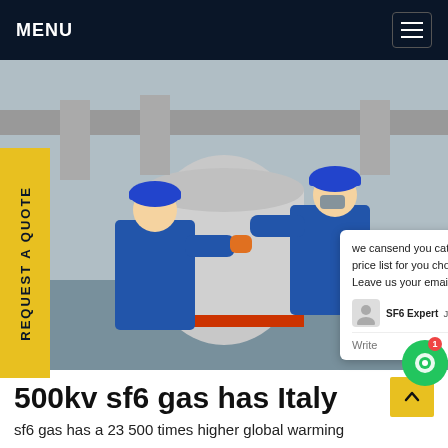MENU
[Figure (photo): Two workers in blue coveralls and blue hard hats working on large industrial gas equipment / valve assembly, likely SF6 gas infrastructure at a power substation.]
REQUEST A QUOTE
we cansend you catalogue and price list for you choosing. Leave us your email or whatsapp.
SF6 Expert   Just now
Write
500kv sf6 gas has Italy
sf6 gas has a 23 500 times higher global warming